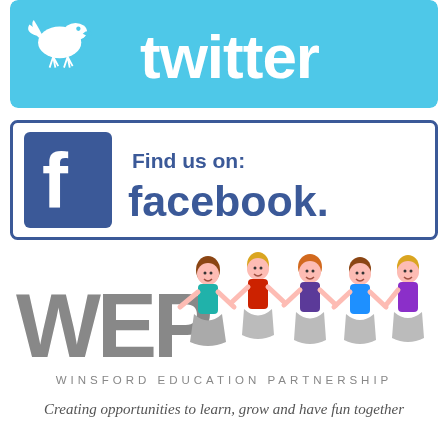[Figure (logo): Twitter logo banner with bird icon and 'twitter' text on light blue background]
[Figure (logo): Facebook 'Find us on: facebook.' banner with Facebook icon and text, blue border on white background]
[Figure (logo): Winsford Education Partnership logo with WEP letters in grey, cartoon children holding hands, text 'WINSFORD EDUCATION PARTNERSHIP' and tagline 'Creating opportunities to learn, grow and have fun together']